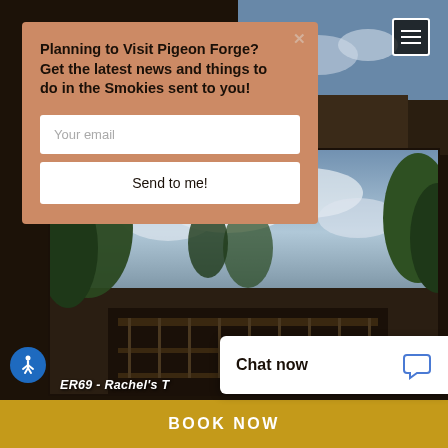[Figure (screenshot): Website screenshot of a cabin rental page for Pigeon Forge / Smokies area, showing a modal popup with email signup form, navigation hamburger menu, cabin photo in background, chat widget, accessibility button, and Book Now bar.]
Planning to Visit Pigeon Forge? Get the latest news and things to do in the Smokies sent to you!
Your email
Send to me!
ER69 - Rachel's T
Chat now
BOOK NOW